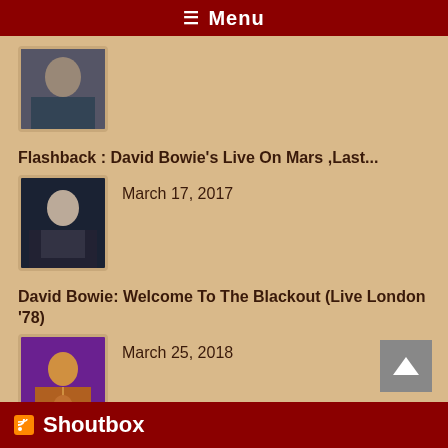☰ Menu
[Figure (photo): Thumbnail photo of person, partially cropped at top of page]
Flashback : David Bowie's Live On Mars ,Last...
[Figure (photo): Thumbnail photo of David Bowie in suit, March 17 2017 article]
March 17, 2017
David Bowie: Welcome To The Blackout (Live London '78)
[Figure (photo): Thumbnail stylized orange/purple image of David Bowie performing, March 25 2018 article]
March 25, 2018
Shoutbox